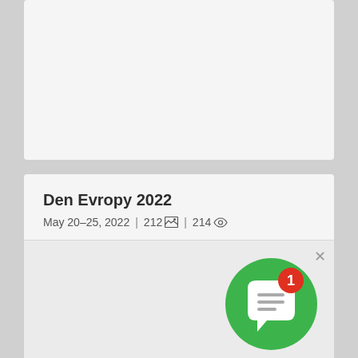[Figure (other): Top card with grey background, empty thumbnail area]
Den Evropy 2022
May 20–25, 2022 | 212 🖼 | 214 👁
[Figure (other): Green circle notification widget with chat bubble icon and red badge showing number 1, with an X close button]